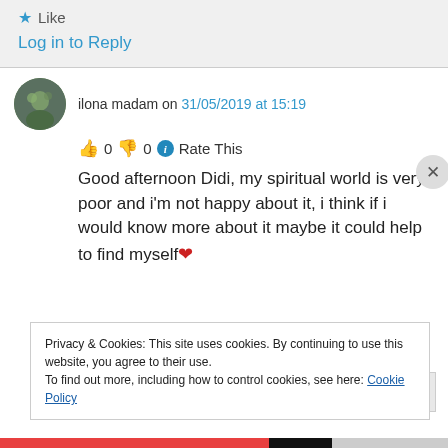★ Like
Log in to Reply
ilona madam on 31/05/2019 at 15:19
👍 0 👎 0 ℹ Rate This
Good afternoon Didi, my spiritual world is very poor and i'm not happy about it, i think if i would know more about it maybe it could help to find myself❤
Privacy & Cookies: This site uses cookies. By continuing to use this website, you agree to their use. To find out more, including how to control cookies, see here: Cookie Policy
Close and accept